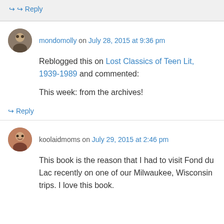↪ Reply
mondomolly on July 28, 2015 at 9:36 pm
Reblogged this on Lost Classics of Teen Lit, 1939-1989 and commented:
This week: from the archives!
↪ Reply
koolaidmoms on July 29, 2015 at 2:46 pm
This book is the reason that I had to visit Fond du Lac recently on one of our Milwaukee, Wisconsin trips. I love this book.